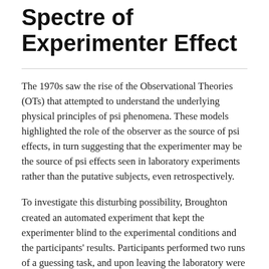Spectre of Experimenter Effect
The 1970s saw the rise of the Observational Theories (OTs) that attempted to understand the underlying physical principles of psi phenomena. These models highlighted the role of the observer as the source of psi effects, in turn suggesting that the experimenter may be the source of psi effects seen in laboratory experiments rather than the putative subjects, even retrospectively.
To investigate this disturbing possibility, Broughton created an automated experiment that kept the experimenter blind to the experimental conditions and the participants' results. Participants performed two runs of a guessing task, and upon leaving the laboratory were given the report of their results, which in the introduction contained suggestions that might lead them to expect that